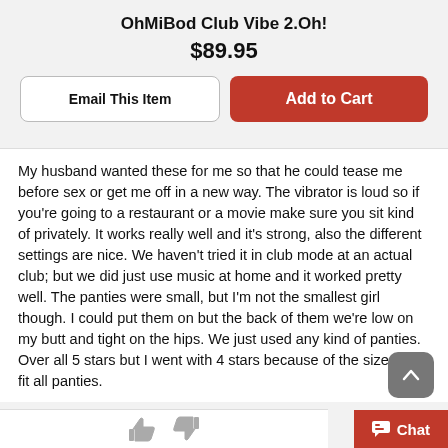OhMiBod Club Vibe 2.Oh!
$89.95
Email This Item
Add to Cart
My husband wanted these for me so that he could tease me before sex or get me off in a new way. The vibrator is loud so if you’re going to a restaurant or a movie make sure you sit kind of privately. It works really well and it’s strong, also the different settings are nice. We haven’t tried it in club mode at an actual club; but we did just use music at home and it worked pretty well. The panties were small, but I’m not the smallest girl though. I could put them on but the back of them we’re low on my butt and tight on the hips. We just used any kind of panties. Over all 5 stars but I went with 4 stars because of the size didn’t fit all panties.